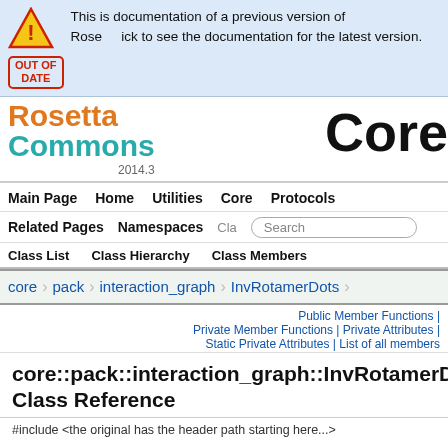This is documentation of a previous version of RosettaCommons. Click to see the documentation for the latest version.
[Figure (screenshot): RosettaCommons logo with orange 'Rosetta' and teal 'Commons' text, plus 'Core' heading and version '2014.3']
Main Page  Home  Utilities  Core  Protocols
Related Pages  Namespaces  Cla  [Search]
Class List  Class Hierarchy  Class Members
core > pack > interaction_graph > InvRotamerDots
Public Member Functions | Private Member Functions | Private Attributes | Static Private Attributes | List of all members
core::pack::interaction_graph::InvRotamerDots Class Reference
...